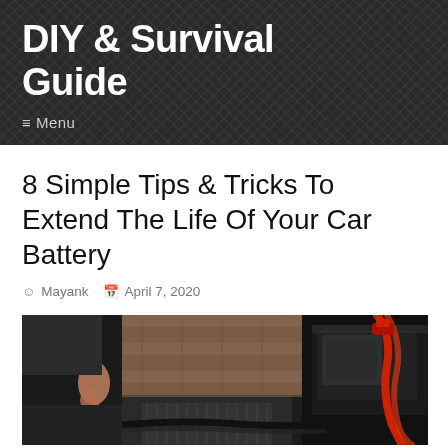DIY & Survival Guide
≡ Menu
8 Simple Tips & Tricks To Extend The Life Of Your Car Battery
Mayank  April 7, 2020
[Figure (photo): Person working with jumper cables on a car battery, with a brick wall and car engine in the background. Red jumper cable visible on the right side.]